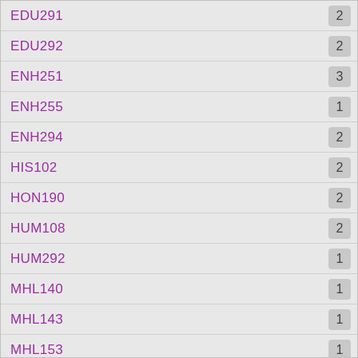EDU291
EDU292
ENH251
ENH255
ENH294
HIS102
HON190
HUM108
HUM292
MHL140
MHL143
MHL153
PHI101
SPH245
Show more